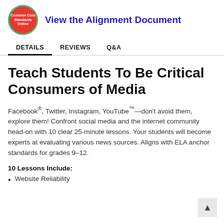[Figure (logo): Common Core Standards Online circular logo with red background and green border]
View the Alignment Document
DETAILS
REVIEWS
Q&A
Teach Students To Be Critical Consumers of Media
Facebook®, Twitter, Instagram, YouTube™—don't avoid them, explore them! Confront social media and the internet community head-on with 10 clear 25-minute lessons. Your students will become experts at evaluating various news sources. Aligns with ELA anchor standards for grades 9–12.
10 Lessons Include:
Website Reliability